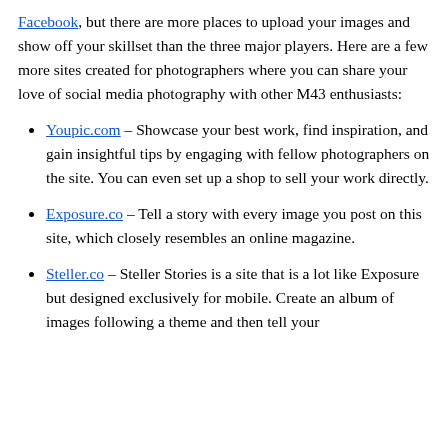Facebook, but there are more places to upload your images and show off your skillset than the three major players. Here are a few more sites created for photographers where you can share your love of social media photography with other M43 enthusiasts:
Youpic.com – Showcase your best work, find inspiration, and gain insightful tips by engaging with fellow photographers on the site. You can even set up a shop to sell your work directly.
Exposure.co – Tell a story with every image you post on this site, which closely resembles an online magazine.
Steller.co – Steller Stories is a site that is a lot like Exposure but designed exclusively for mobile. Create an album of images following a theme and then tell your